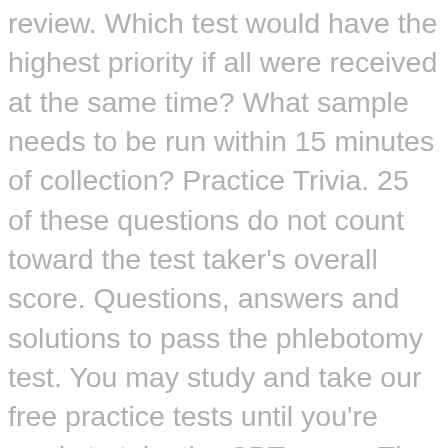review. Which test would have the highest priority if all were received at the same time? What sample needs to be run within 15 minutes of collection? Practice Trivia. 25 of these questions do not count toward the test taker's overall score. Questions, answers and solutions to pass the phlebotomy test. You may study and take our free practice tests until you're ready to take the CPT exam. The exam is also timed. Candidate must have completed an NAACLS-approved phlebotomy program within the last 5 years. Performance on The Phlebotomy Certification Test is vital for any candidate who wishes to become a Phlebotomy Technician. One full year spent working as a part time phlebotomist, Six months spent working as a full time phlebotomist, Successful completion of an accredited phlebotomy technician training program which includes at least 75 documented successful venipunctures and 5 documented skin punctures, A letter from a certified healthcare supervisor showing the candidate needs to take blood specimens regularly as part of the regular job function